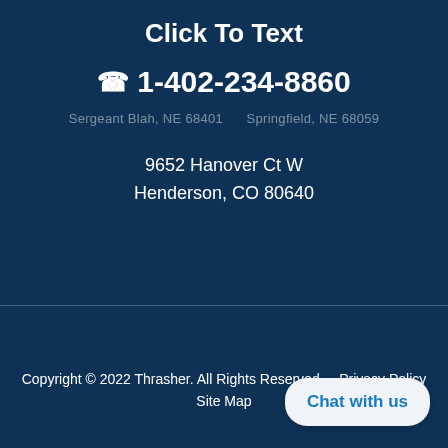Click To Text
1-402-234-8860
Sergeant Blah, NE 68401   Springfield, NE 68059
9652 Hanover Ct W
Henderson, CO 80640
Copyright © 2022 Thrasher. All Rights Reserved.   Privacy Policy
Site Map
Chat with us